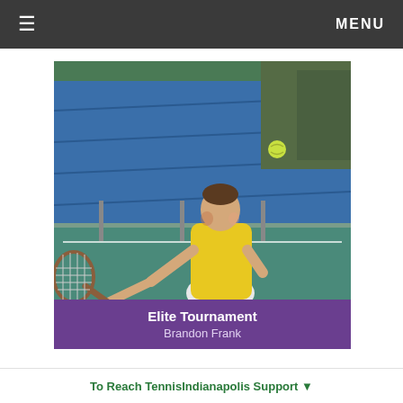≡   MENU
[Figure (photo): Young male tennis player in yellow shirt and white shorts lunging to hit a forehand shot on a green tennis court. Blue tarp backdrop visible behind him. A yellow tennis ball is in the air to his right. He holds a wooden-handled racket.]
Elite Tournament
Brandon Frank
To Reach TennisIndianapolis Support ▼